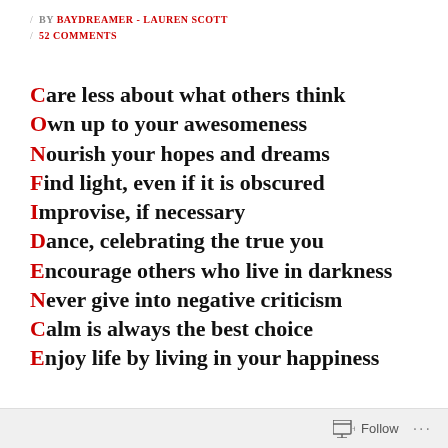BY BAYDREAMER - LAUREN SCOTT
52 COMMENTS
Care less about what others think
Own up to your awesomeness
Nourish your hopes and dreams
Find light, even if it is obscured
Improvise, if necessary
Dance, celebrating the true you
Encourage others who live in darkness
Never give into negative criticism
Calm is always the best choice
Enjoy life by living in your happiness
Follow